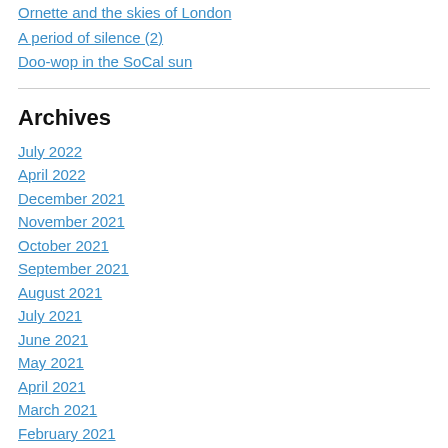Ornette and the skies of London
A period of silence (2)
Doo-wop in the SoCal sun
Archives
July 2022
April 2022
December 2021
November 2021
October 2021
September 2021
August 2021
July 2021
June 2021
May 2021
April 2021
March 2021
February 2021